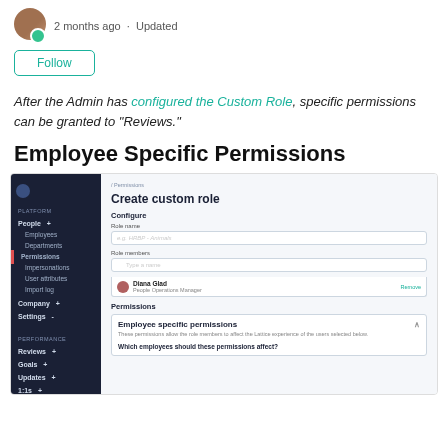2 months ago · Updated
After the Admin has configured the Custom Role, specific permissions can be granted to "Reviews."
Employee Specific Permissions
[Figure (screenshot): Screenshot of a Lattice platform UI showing the 'Create custom role' form with sidebar navigation (People, Permissions, Company, Settings, Performance sections), form fields for Role name and Role members (with Diana Glad, People Operations Manager listed), and a Permissions section showing 'Employee specific permissions' with description text and a question about which employees should be affected.]